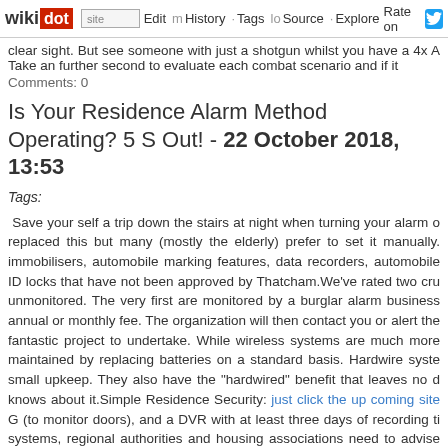wikidot | site | Edit | History | Tags | Source | Explore | Share on [Twitter]
clear sight. But see someone with just a shotgun whilst you have a 4x A Take an further second to evaluate each combat scenario and if it
Comments: 0
Is Your Residence Alarm Method Operating? 5 S Out! - 22 October 2018, 13:53
Tags:
Save your self a trip down the stairs at night when turning your alarm o replaced this but many (mostly the elderly) prefer to set it manually. immobilisers, automobile marking features, data recorders, automobile ID locks that have not been approved by Thatcham.We've rated two cru unmonitored. The very first are monitored by a burglar alarm business annual or monthly fee. The organization will then contact you or alert the fantastic project to undertake. While wireless systems are much more maintained by replacing batteries on a standard basis. Hardwire syste small upkeep. They also have the "hardwired" benefit that leaves no d knows about it.Simple Residence Security: just click the up coming site G (to monitor doors), and a DVR with at least three days of recording ti systems, regional authorities and housing associations need to advise concerns about fire safety.Nationally, Police respond to millions of calls attempted or committed. Several studies have shown that more than 75% The objective of this document is to help alarm owners identify the most to correct them. Please review these helpful hints and ought to you re contact with Consumer Service at 618-394-1144, ext. four.All the talk ab customers to secure their homefronts. If you think that false alarms system's gear is malfunctioning, make contact with your alarm busine